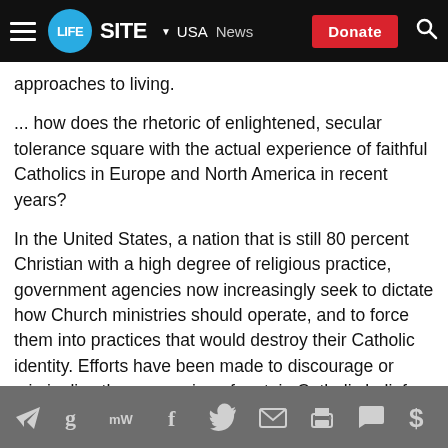LifeSite | USA | News | Donate
approaches to living.
... how does the rhetoric of enlightened, secular tolerance square with the actual experience of faithful Catholics in Europe and North America in recent years?
In the United States, a nation that is still 80 percent Christian with a high degree of religious practice, government agencies now increasingly seek to dictate how Church ministries should operate, and to force them into practices that would destroy their Catholic identity. Efforts have been made to discourage or criminalize the expression of certain Catholic beliefs as “hate speech.” Our courts and legislatures now
Social sharing icons: Telegram, Gab, MeWe, Facebook, Twitter, Email, Print, Comment, Donate